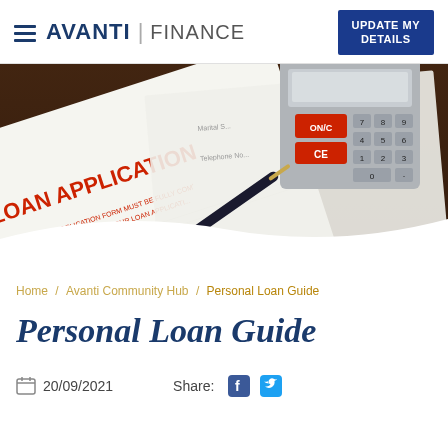AVANTI | FINANCE — UPDATE MY DETAILS
[Figure (photo): Photo of a loan application form with a pen and a calculator on a dark wooden surface]
Home / Avanti Community Hub / Personal Loan Guide
Personal Loan Guide
20/09/2021    Share: